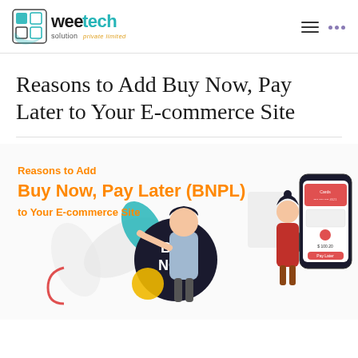Weetech Solution Private Limited
Reasons to Add Buy Now, Pay Later to Your E-commerce Site
[Figure (illustration): Promotional banner illustration showing 'Reasons to Add Buy Now, Pay Later (BNPL) to Your E-commerce Site' with orange text, a woman pointing at a dark circle with 'BUY NOW' text, another woman figure, and a smartphone showing a payment card interface with 'Pay Later' button and $100.20 amount.]